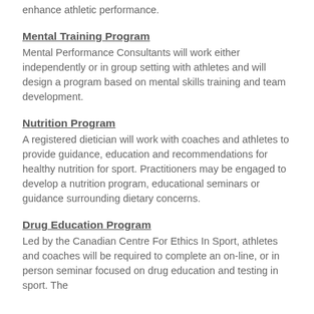enhance athletic performance.
Mental Training Program
Mental Performance Consultants will work either independently or in group setting with athletes and will design a program based on mental skills training and team development.
Nutrition Program
A registered dietician will work with coaches and athletes to provide guidance, education and recommendations for healthy nutrition for sport.  Practitioners may be engaged to develop a nutrition program, educational seminars or guidance surrounding dietary concerns.
Drug Education Program
Led by the Canadian Centre For Ethics In Sport, athletes and coaches will be required to complete an on-line, or in person seminar focused on drug education and testing in sport.  The